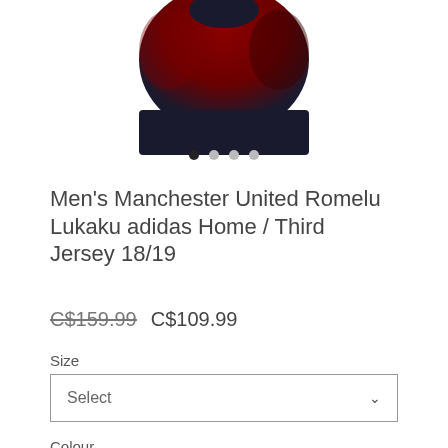[Figure (photo): Partial view of a dark red/maroon Manchester United football jersey, cropped showing the upper chest/collar area against white background]
Men's Manchester United Romelu Lukaku adidas Home / Third Jersey 18/19
C$159.99  C$109.99
Size
Select
Colour
Quantity